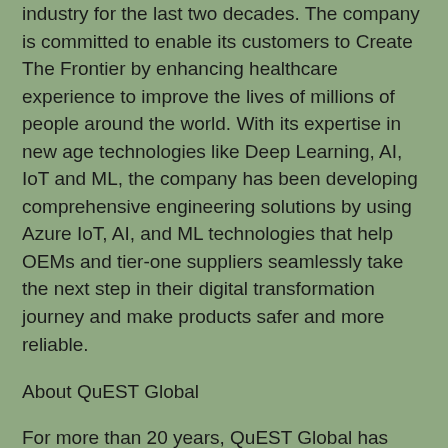industry for the last two decades. The company is committed to enable its customers to Create The Frontier by enhancing healthcare experience to improve the lives of millions of people around the world. With its expertise in new age technologies like Deep Learning, AI, IoT and ML, the company has been developing comprehensive engineering solutions by using Azure IoT, AI, and ML technologies that help OEMs and tier-one suppliers seamlessly take the next step in their digital transformation journey and make products safer and more reliable.
About QuEST Global
For more than 20 years, QuEST Global has aimed to be a trusted global product engineering and lifecycle services partner to many of the world's most recognized companies in the Aero Engines, Hi-Tech, Aerospace & Defense, Transportation (Auto and Rail), Power and Industrial, Oil & Gas and Medical Devices industries. With a global presence in 15 countries, 68 global centers and 12,300+ personnel, QuEST Global believes that it is at the forefront of the convergence of the mechanical, electronics, software and